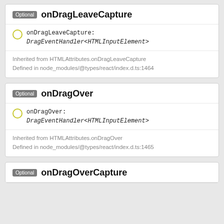Optional onDragLeaveCapture
onDragLeaveCapture: DragEventHandler<HTMLInputElement>
Inherited from HTMLAttributes.onDragLeaveCapture
Defined in node_modules/@types/react/index.d.ts:1464
Optional onDragOver
onDragOver: DragEventHandler<HTMLInputElement>
Inherited from HTMLAttributes.onDragOver
Defined in node_modules/@types/react/index.d.ts:1465
Optional onDragOverCapture